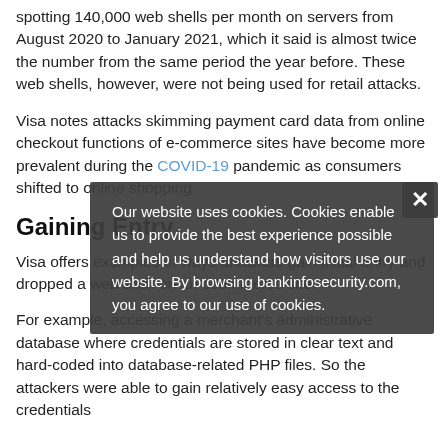spotting 140,000 web shells per month on servers from August 2020 to January 2021, which it said is almost twice the number from the same period the year before. These web shells, however, were not being used for retail attacks.
Visa notes attacks skimming payment card data from online checkout functions of e-commerce sites have become more prevalent during the COVID-19 pandemic as consumers shifted to online shopping
Gaining Entry
Visa offers examples of ways attackers gain initial entry and drop a web shell on an ecommerce site:
For example, accessing a merchant's administrative database where credentials are stored in clear text and hard-coded into database-related PHP files. So the attackers were able to gain relatively easy access to the credentials
Our website uses cookies. Cookies enable us to provide the best experience possible and help us understand how visitors use our website. By browsing bankinfosecurity.com, you agree to our use of cookies.